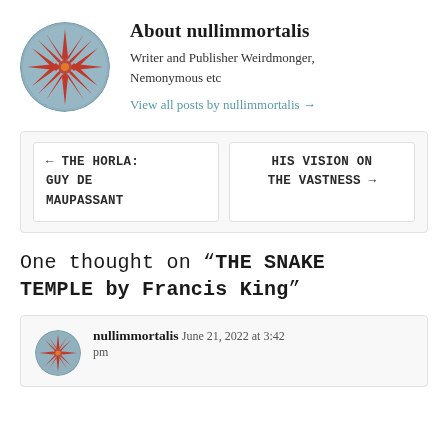About nullimmortalis
Writer and Publisher Weirdmonger, Nemonymous etc
View all posts by nullimmortalis →
← THE HORLA: GUY DE MAUPASSANT
HIS VISION ON THE VASTNESS →
One thought on "THE SNAKE TEMPLE by Francis King"
nullimmortalis June 21, 2022 at 3:42 pm